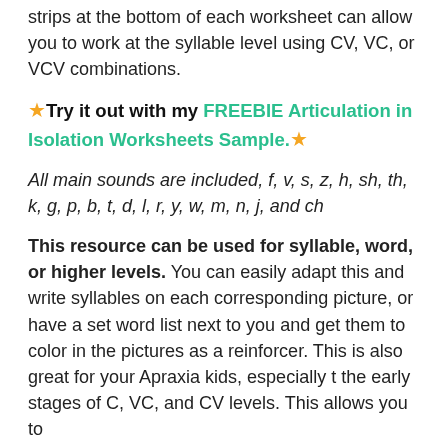strips at the bottom of each worksheet can allow you to work at the syllable level using CV, VC, or VCV combinations.
★ Try it out with my FREEBIE Articulation in Isolation Worksheets Sample. ★
All main sounds are included, f, v, s, z, h, sh, th, k, g, p, b, t, d, l, r, y, w, m, n, j, and ch
This resource can be used for syllable, word, or higher levels. You can easily adapt this and write syllables on each corresponding picture, or have a set word list next to you and get them to color in the pictures as a reinforcer. This is also great for your Apraxia kids, especially t the early stages of C, VC, and CV levels. This allows you to